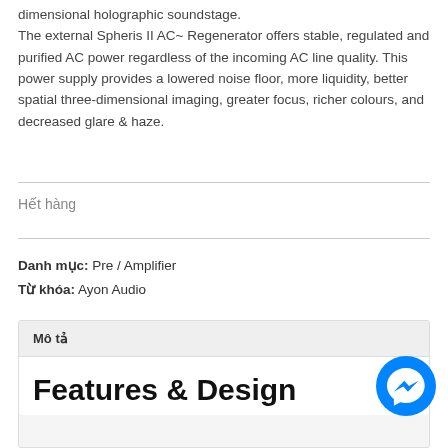dimensional holographic soundstage. The external Spheris II AC~ Regenerator offers stable, regulated and purified AC power regardless of the incoming AC line quality. This power supply provides a lowered noise floor, more liquidity, better spatial three-dimensional imaging, greater focus, richer colours, and decreased glare & haze.
Hết hàng
Danh mục: Pre / Amplifier
Từ khóa: Ayon Audio
Mô tả
Features & Design